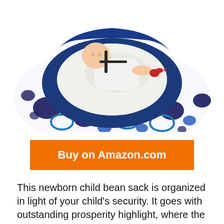[Figure (photo): A baby lying in a white bean bag seat with blue, black, and teal circle/dot pattern fabric and a deep blue velvet inner cushion. The baby is wearing white clothing and a safety harness is visible.]
Buy on Amazon.com
This newborn child bean sack is organized in light of your child's security. It goes with outstanding prosperity highlight, where the zipper tag has been removed to shield your child from getting to the filling material.